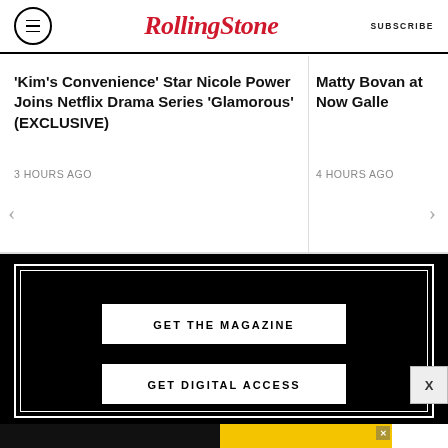RollingStone — SUBSCRIBE
'Kim's Convenience' Star Nicole Power Joins Netflix Drama Series 'Glamorous' (EXCLUSIVE)
3 HOURS AGO
Matty Bovan at Now Galle
4 HOURS AGO
GET THE MAGAZINE
GET DIGITAL ACCESS
[Figure (advertisement): SPY advertisement banner: SPY-TESTED MASSAGE GUN NOW JUST $79 with SPY logo on yellow background]